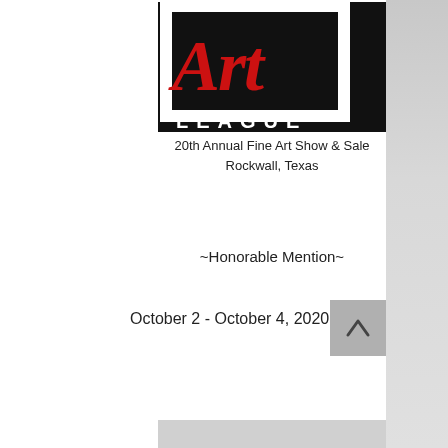[Figure (logo): Art League logo — black background with white square frame outline, large red cursive 'Art' script overlaid, white bold 'LEAGUE' text below in spaced capitals]
20th Annual Fine Art Show & Sale
Rockwall, Texas
~Honorable Mention~
October 2 - October 4, 2020